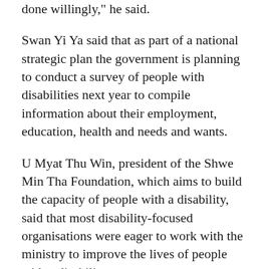done willingly," he said.
Swan Yi Ya said that as part of a national strategic plan the government is planning to conduct a survey of people with disabilities next year to compile information about their employment, education, health and needs and wants.
U Myat Thu Win, president of the Shwe Min Tha Foundation, which aims to build the capacity of people with a disability, said that most disability-focused organisations were eager to work with the ministry to improve the lives of people with a disability.
He suggested that Swan Yi Ya’s comments might reflect a “misunderstanding” between the ministry and a single organisation.